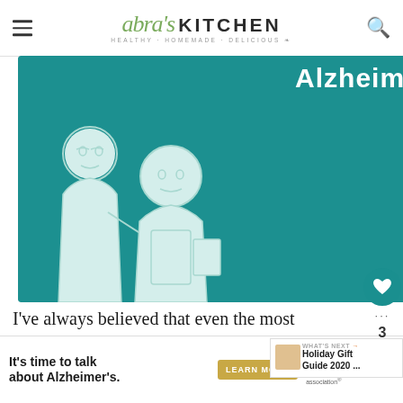Abra's Kitchen - Healthy · Homemade · Delicious
[Figure (illustration): Advertisement for Alzheimer's Association showing illustrated elderly couple, text 'Alzheimer's.' in large font, 'LEARN MORE' button, 'alz.org/ourstories', and Alzheimer's Association logo on teal/green background.]
I've always believed that even the most everyday i... can be a touchpoint of pleasure when well ... and elevated by great design, quality materials and
[Figure (screenshot): What's Next widget showing 'Holiday Gift Guide 2020 ...' with thumbnail image]
[Figure (illustration): Bottom banner advertisement: 'It's time to talk about Alzheimer's.' with LEARN MORE button and Alzheimer's Association logo on white background]